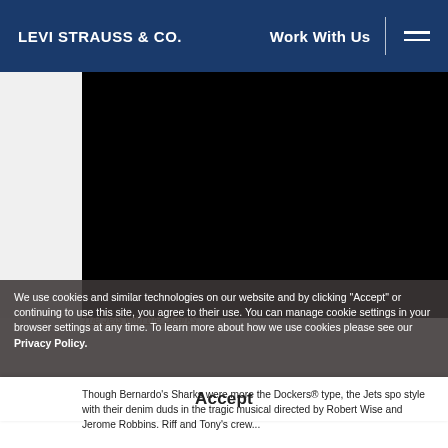LEVI STRAUSS & CO.   Work With Us
[Figure (photo): Dark/black hero image area with white strip on left side, appears to be a video or photo placeholder on a Levi Strauss & Co. webpage]
The Jets with the Sharks
We use cookies and similar technologies on our website and by clicking "Accept" or continuing to use this site, you agree to their use. You can manage cookie settings in your browser settings at any time. To learn more about how we use cookies please see our Privacy Policy.
Accept
Though Bernardo's Sharks were more the Dockers® type, the Jets spo style with their denim duds in the tragic musical directed by Robert Wise and Jerome Robbins. Riff and Tony's crew...